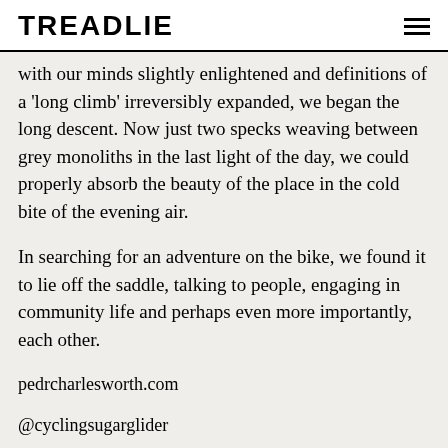TREADLIE
with our minds slightly enlightened and definitions of a 'long climb' irreversibly expanded, we began the long descent. Now just two specks weaving between grey monoliths in the last light of the day, we could properly absorb the beauty of the place in the cold bite of the evening air.
In searching for an adventure on the bike, we found it to lie off the saddle, talking to people, engaging in community life and perhaps even more importantly, each other.
pedrcharlesworth.com
@cyclingsugarglider
Words & Pictures Pedr Charlesworth